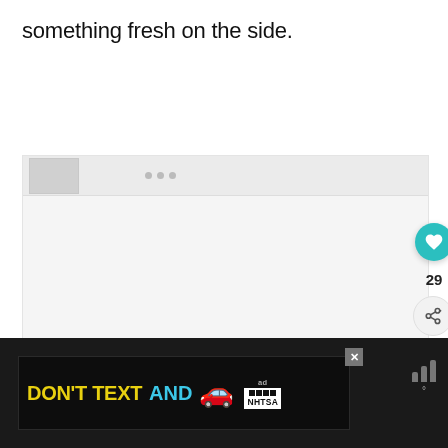something fresh on the side.
[Figure (screenshot): Website content area showing a social media or recipe page with a heart/like button (teal circle with heart icon), like count of 29, share button, and a 'What's Next' panel linking to 'What to Serve with French...' with a food thumbnail image. The content area has a light grey background.]
[Figure (screenshot): Bottom advertisement bar on dark background showing a 'DON'T TEXT AND [car emoji]' NHTSA public service announcement ad banner in yellow and cyan text, with an ad close button (X) and a weather/signal widget on the right.]